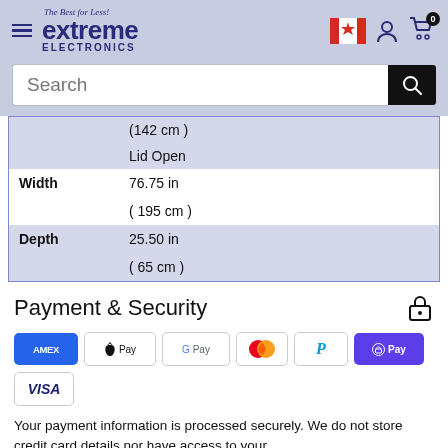[Figure (logo): Extreme Electronics logo with hamburger menu, Canadian flag, user icon, and cart icon with badge 0]
[Figure (screenshot): Search bar with text 'Search' and black search button]
|  | (142 cm) | Lid Open |
| Width | 76.75 in
(195 cm ) |
| Depth | 25.50 in
(65 cm ) |
Payment & Security
[Figure (infographic): Payment method logos: Amex, Apple Pay, Google Pay, Mastercard, PayPal, Shop Pay, Visa]
Your payment information is processed securely. We do not store credit card details nor have access to your